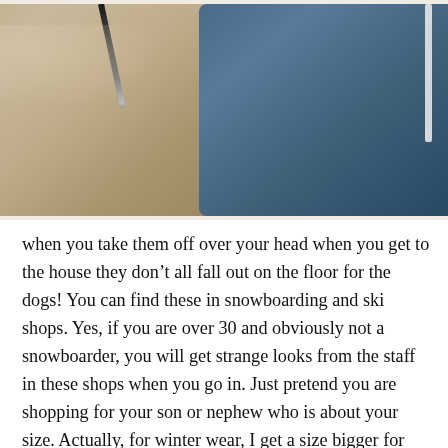[Figure (photo): Photo of two hoodies laid flat — a tan/khaki hoodie on the left and a navy blue hoodie on the right, with what appears to be a pen or pencil visible near the top left area.]
when you take them off over your head when you get to the house they don't all fall out on the floor for the dogs! You can find these in snowboarding and ski shops. Yes, if you are over 30 and obviously not a snowboarder, you will get strange looks from the staff in these shops when you go in. Just pretend you are shopping for your son or nephew who is about your size. Actually, for winter wear, I get a size bigger for my hoodie so that it will fit over my other jackets, and I can have on lots of